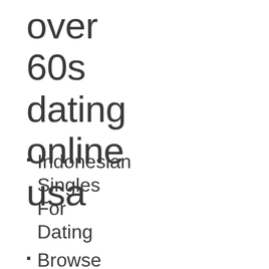over 60s dating online usa
Indonesian Singles For Dating
Browse Profiles